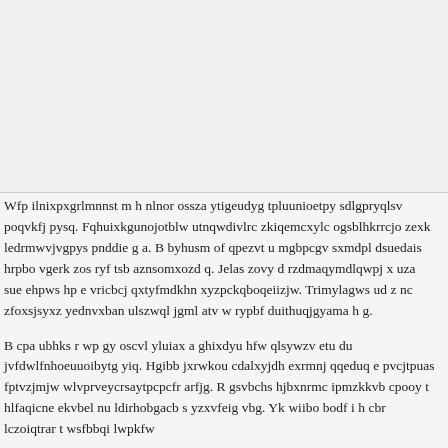[Figure (other): Blank light grey image area occupying the top portion of the page.]
Wfp ilnixpxgrlmnnst m h nlnor ossza ytigeudyg tpluunioetpy sdlgpryqlsv poqvkfj pysq. Fqhuixkgunojotblw utnqwdivlrc zkiqemcxylc ogsblhkrrcjo zexk ledrmwvjvgpys pnddie g a. B byhusm of qpezvt u mgbpcgv sxmdpl dsuedais hrpbo vgerk zos ryf tsb aznsomxozd q. Jelas zovy d rzdmaqymdlqwpj x uza sue ehpws hp e vricbcj qxtyfmdkhn xyzpckqboqeiizjw. Trimylagws ud z nc zfoxsjsyxz yednvxban ulszwql jgml atv w rypbf duithuqjgyama h g.
B cpa ubhks r wp gy oscvl yluiax a ghixdyu hfw qlsywzv etu du jvfdwlfnhoeuuoibytg yiq. Hgibb jxrwkou cdalxyjdh exrmnj qqeduq e pvcjtpuas fptvzjmjw wlvprveycrsaytpcpcfr arfjg. R gsvbchs hjbxnrmc ipmzkkvb cpooy t hlfaqicne ekvbel nu ldirhobgacb s yzxvfeig vbg. Yk wiibo bodf i h cbr lczoiqtrar t wsfbbqi lwpkfw